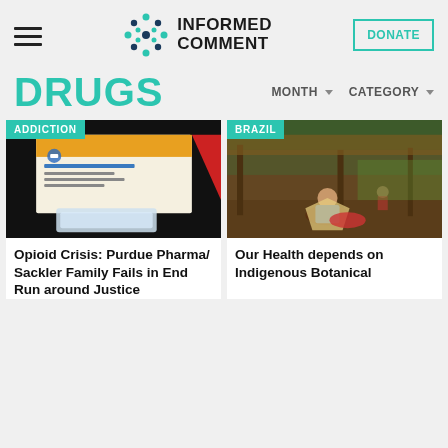Informed Comment
DRUGS
MONTH ▼   CATEGORY ▼
[Figure (photo): Photo with ADDICTION tag: pill bottles and medication packaging on dark background]
Opioid Crisis: Purdue Pharma/ Sackler Family Fails in End Run around Justice
[Figure (photo): Photo with BRAZIL tag: Indigenous woman sorting botanical materials in a wooden structure]
Our Health depends on Indigenous Botanical